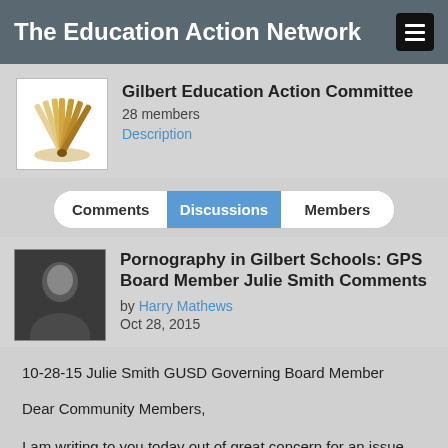The Education Action Network
Gilbert Education Action Committee
28 members
Description
Comments | Discussions | Members
Pornography in Gilbert Schools: GPS Board Member Julie Smith Comments
by Harry Mathews
Oct 28, 2015
10-28-15 Julie Smith GUSD Governing Board Member
Dear Community Members,
I am writing to you today out of great concern for an issue